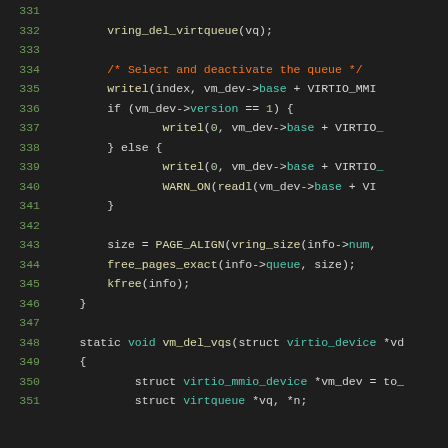Code listing lines 331-351, C source code for vm_del_vqs function
331: (blank)
332:     vring_del_virtqueue(vq);
333: (blank)
334:     /* Select and deactivate the queue */
335:     writel(index, vm_dev->base + VIRTIO_MMIO...
336:     if (vm_dev->version == 1) {
337:         writel(0, vm_dev->base + VIRTIO_...
338:     } else {
339:         writel(0, vm_dev->base + VIRTIO...
340:         WARN_ON(readl(vm_dev->base + VI...
341:     }
342: (blank)
343:     size = PAGE_ALIGN(vring_size(info->num,
344:     free_pages_exact(info->queue, size);
345:     kfree(info);
346: }
347: (blank)
348: static void vm_del_vqs(struct virtio_device *vd...
349: {
350:     struct virtio_mmio_device *vm_dev = to_...
351:     struct virtqueue *vq, *n;